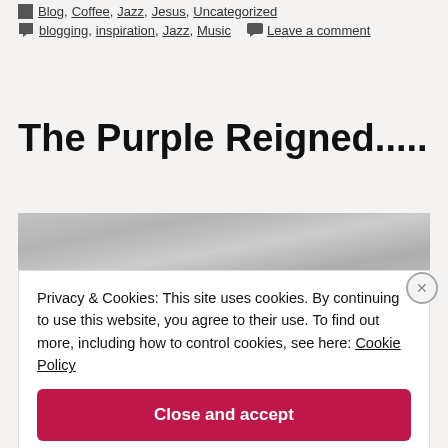Blog, Coffee, Jazz, Jesus, Uncategorized
blogging, inspiration, Jazz, Music   Leave a comment
The Purple Reigned.....
[Figure (photo): Gray textured metallic or fabric surface image]
Privacy & Cookies: This site uses cookies. By continuing to use this website, you agree to their use. To find out more, including how to control cookies, see here: Cookie Policy
Close and accept